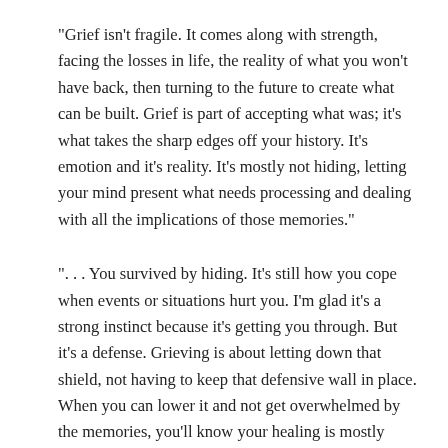“Grief isn’t fragile. It comes along with strength, facing the losses in life, the reality of what you won’t have back, then turning to the future to create what can be built. Grief is part of accepting what was; it’s what takes the sharp edges off your history. It’s emotion and it’s reality. It’s mostly not hiding, letting your mind present what needs processing and dealing with all the implications of those memories.”
“. . . You survived by hiding. It’s still how you cope when events or situations hurt you. I’m glad it’s a strong instinct because it’s getting you through. But it’s a defense. Grieving is about letting down that shield, not having to keep that defensive wall in place. When you can lower it and not get overwhelmed by the memories, you’ll know your healing is mostly complete…and be ready to move on.